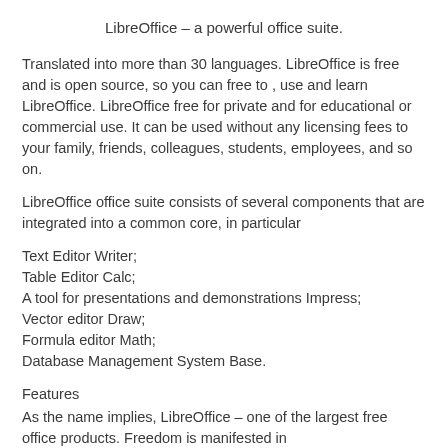LibreOffice – a powerful office suite.
Translated into more than 30 languages. LibreOffice is free and is open source, so you can free to , use and learn LibreOffice. LibreOffice free for private and for educational or commercial use. It can be used without any licensing fees to your family, friends, colleagues, students, employees, and so on.
LibreOffice office suite consists of several components that are integrated into a common core, in particular
Text Editor Writer;
Table Editor Calc;
A tool for presentations and demonstrations Impress;
Vector editor Draw;
Formula editor Math;
Database Management System Base.
Features
As the name implies, LibreOffice – one of the largest free office products. Freedom is manifested in